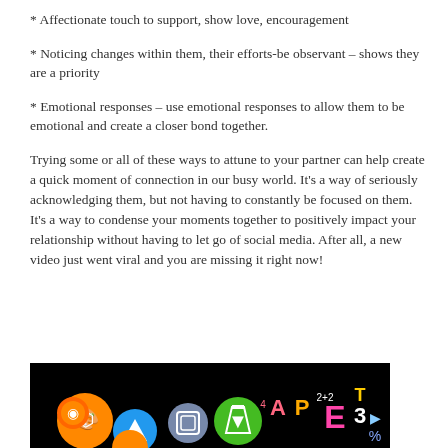* Affectionate touch to support, show love, encouragement
* Noticing changes within them, their efforts-be observant – shows they are a priority
* Emotional responses – use emotional responses to allow them to be emotional and create a closer bond together.
Trying some or all of these ways to attune to your partner can help create a quick moment of connection in our busy world. It's a way of seriously acknowledging them, but not having to constantly be focused on them. It's a way to condense your moments together to positively impact your relationship without having to let go of social media. After all, a new video just went viral and you are missing it right now!
[Figure (illustration): Dark background image with colorful educational app icons including paint palette, music, science beaker, math symbols, letters A, P, E, T, numbers 2+2, 3, percent sign, displayed as glowing circles on black background.]